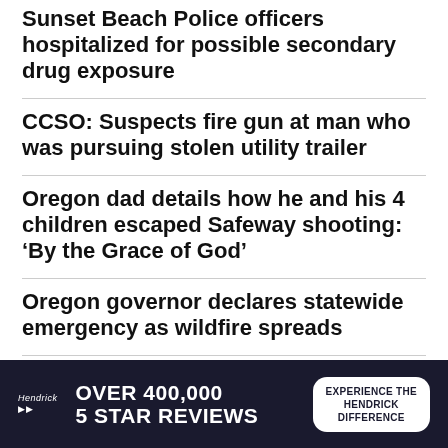Sunset Beach Police officers hospitalized for possible secondary drug exposure
CCSO: Suspects fire gun at man who was pursuing stolen utility trailer
Oregon dad details how he and his 4 children escaped Safeway shooting: ‘By the Grace of God’
Oregon governor declares statewide emergency as wildfire spreads
[Figure (infographic): Hendrick automotive advertisement banner: dark navy background with white text reading 'OVER 400,000 5 STAR REVIEWS', Hendrick logo in italic, and a white pill-shaped button reading 'EXPERIENCE THE HENDRICK DIFFERENCE']